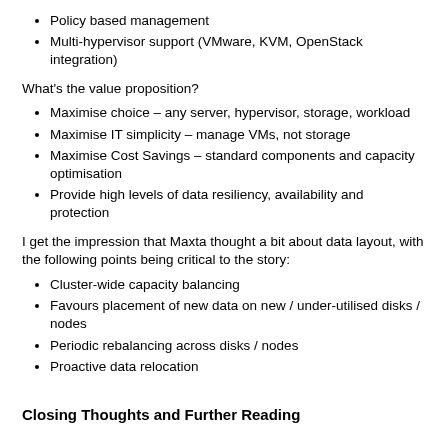Policy based management
Multi-hypervisor support (VMware, KVM, OpenStack integration)
What's the value proposition?
Maximise choice – any server, hypervisor, storage, workload
Maximise IT simplicity – manage VMs, not storage
Maximise Cost Savings – standard components and capacity optimisation
Provide high levels of data resiliency, availability and protection
I get the impression that Maxta thought a bit about data layout, with the following points being critical to the story:
Cluster-wide capacity balancing
Favours placement of new data on new / under-utilised disks / nodes
Periodic rebalancing across disks / nodes
Proactive data relocation
Closing Thoughts and Further Reading